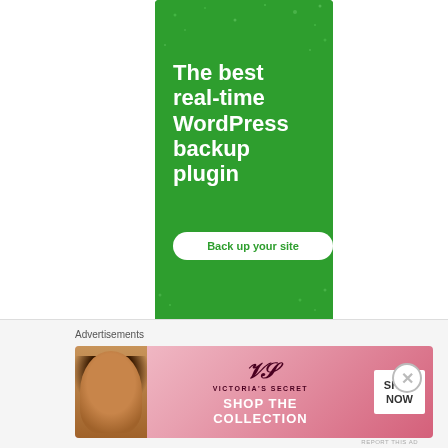[Figure (screenshot): Green advertisement banner for WordPress backup plugin showing 'The best real-time WordPress backup plugin' text with 'Back up your site' button]
REPORT THIS AD
CATEGORIES
2016
Advertisements
[Figure (screenshot): Victoria's Secret banner advertisement showing model, VS logo, 'SHOP THE COLLECTION' text, and 'SHOP NOW' button on pink/gradient background]